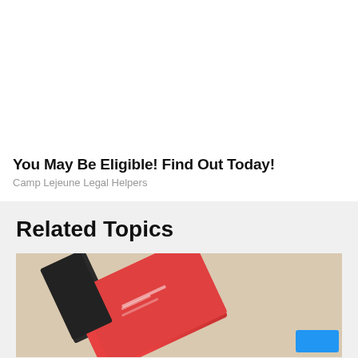You May Be Eligible! Find Out Today!
Camp Lejeune Legal Helpers
Related Topics
[Figure (photo): Photo of red credit cards and a black pen on a beige/tan surface, partially cropped, with a blue button overlay in the bottom right corner.]